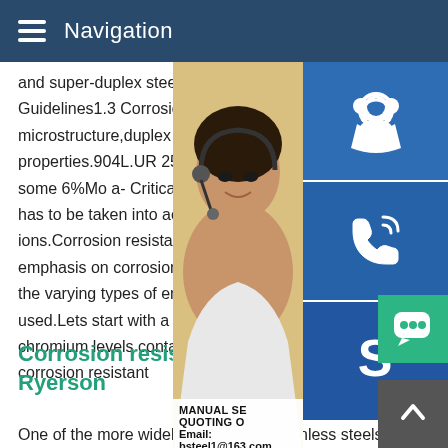Navigation
and super-duplex steels,theDuplex Stainless Guidelines1.3 Corrosion resistance Thank microstructure,duplex stainless steels presents properties.904L.UR 2507 presents an equivalent some 6%Mo a- Critical Pitting Temperature has to be taken into account for applications ions.Corrosion resistance levels in stainless emphasis on corrosion resistance is important the varying types of environments in which used.Lets start with a basic rule of thumb, chromium levels contained within the stainless steel,the more corrosion resistant
[Figure (photo): Customer service representative woman wearing headset, smiling, with blue icons for customer support, phone, and Skype on the right side. Manual SE, Quoting O, and Email: bsteel1@163.com labels visible.]
Corrosion resistance levels in stainless steel Ryerson
One of the more widely used ferritic stainless steels is 430.Use